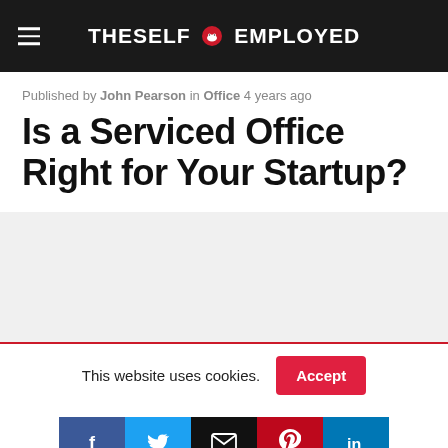THESELF EMPLOYED
Published by John Pearson in Office 4 years ago
Is a Serviced Office Right for Your Startup?
[Figure (photo): Gray placeholder image area below article title]
This website uses cookies.
Accept
[Figure (infographic): Social sharing buttons row: Facebook, Twitter, Email, Pinterest, LinkedIn]